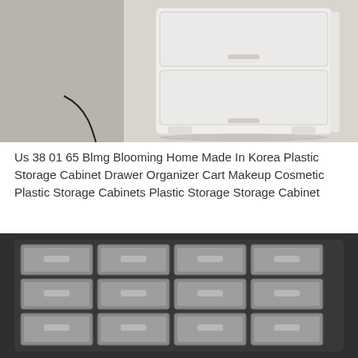[Figure (photo): A white plastic storage cabinet with drawers on a light gray floor background, partially showing another object to the left]
Us 38 01 65 Blmg Blooming Home Made In Korea Plastic Storage Cabinet Drawer Organizer Cart Makeup Cosmetic Plastic Storage Cabinets Plastic Storage Storage Cabinet
[Figure (photo): A dark gray/black multi-drawer parts organizer cabinet with multiple rows of clear plastic drawers arranged in a grid pattern]